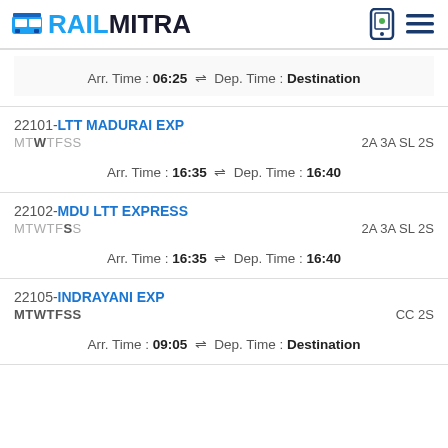RAILMITRA
Arr. Time : 06:25 ⇌ Dep. Time : Destination
22101-LTT MADURAI EXP MTWTFSS 2A 3A SL 2S Arr. Time : 16:35 ⇌ Dep. Time : 16:40
22102-MDU LTT EXPRESS MTWTFSS 2A 3A SL 2S Arr. Time : 16:35 ⇌ Dep. Time : 16:40
22105-INDRAYANI EXP MTWTFSS CC 2S Arr. Time : 09:05 ⇌ Dep. Time : Destination